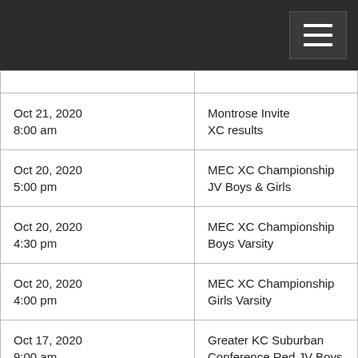| Date/Time | Event |
| --- | --- |
| Oct 21, 2020
8:00 am | Montrose Invite
XC results |
| Oct 20, 2020
5:00 pm | MEC XC Championship
JV Boys & Girls |
| Oct 20, 2020
4:30 pm | MEC XC Championship
Boys Varsity |
| Oct 20, 2020
4:00 pm | MEC XC Championship
Girls Varsity |
| Oct 17, 2020
9:00 am | Greater KC Suburban
Conference Red JV Boys |
| Oct 17, 2020 | Greater KC Suburban Conference |